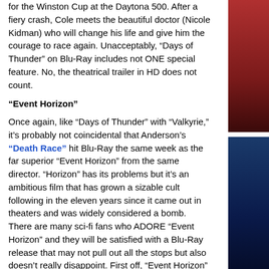for the Winston Cup at the Daytona 500. After a fiery crash, Cole meets the beautiful doctor (Nicole Kidman) who will change his life and give him the courage to race again. Unacceptably, “Days of Thunder” on Blu-Ray includes not ONE special feature. No, the theatrical trailer in HD does not count.
“Event Horizon”
Once again, like “Days of Thunder” with “Valkyrie,” it’s probably not coincidental that Anderson’s “Death Race” hit Blu-Ray the same week as the far superior “Event Horizon” from the same director. “Horizon” has its problems but it’s an ambitious film that has grown a sizable cult following in the eleven years since it came out in theaters and was widely considered a bomb. There are many sci-fi fans who ADORE “Event Horizon” and they will be satisfied with a Blu-Ray release that may not pull out all the stops but also doesn’t really disappoint. First off, “Event Horizon” is an audio experience designed for the Dolby True HD audio that Blu-Ray can provide.
It looks like the harder version of “Event Horizon” - the film reportedly ran 130 minutes in its first version - will never be seen, as a lot of that footage has been lost, but some of it remains in a few fascinating deleted scenes and conceptual art included on this release. Bonus features also include a commentary with Anderson and producer Jeremy Bolt, 5 documentaries under the banner of “The Making of Event Horizon,” “The Point of No Return: The Filming of Event Horizon,” “Secrets,” and “The
[Figure (photo): Right side strip showing two movie cover images: top portion shows a dark red/maroon colored movie cover, bottom portion shows a dark blue movie cover, separated by a white gap.]